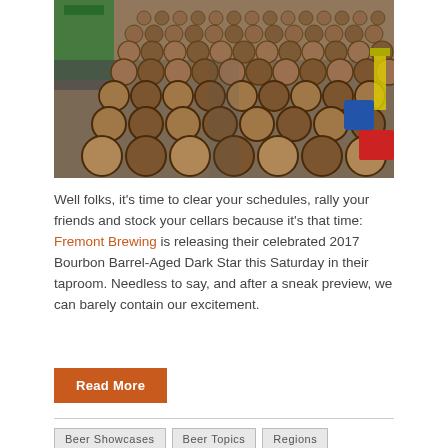[Figure (photo): Aerial/overhead view of a large warehouse floor covered with rows of wooden bourbon barrels, with green equipment and blue bins visible in the background]
Well folks, it’s time to clear your schedules, rally your friends and stock your cellars because it’s that time: Fremont Brewing is releasing their celebrated 2017 Bourbon Barrel-Aged Dark Star this Saturday in their taproom. Needless to say, and after a sneak preview, we can barely contain our excitement.
Read More
Beer Showcases | Beer Topics | Regions
Big Boss | Oak-Aged “Strange Cargo” Trio